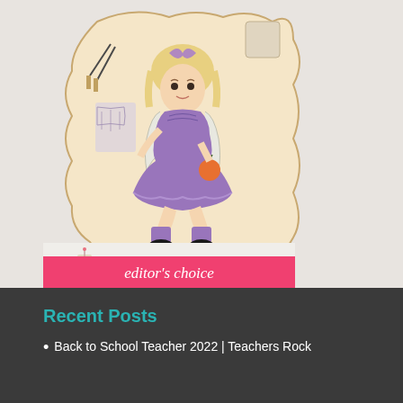[Figure (photo): A decorated sugar cookie shaped like a scalloped frame. The cookie features a hand-painted illustration of a little blonde girl in a purple dress and white cardigan, sitting and holding an apple. Paintbrushes and a cup are visible in the background. Below the cookie is a CakesDecor logo with a cake icon and the text 'editor's choice' on a pink banner.]
Recent Posts
Back to School Teacher 2022 | Teachers Rock